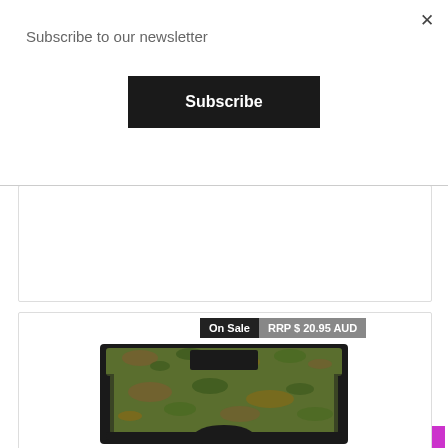×
Subscribe to our newsletter
Subscribe
Now from  $ 10.95 AUD
See Options
On Sale
RRP $ 20.95 AUD
[Figure (photo): Camouflage dog diaper/pant product photo with black trim and velcro closure]